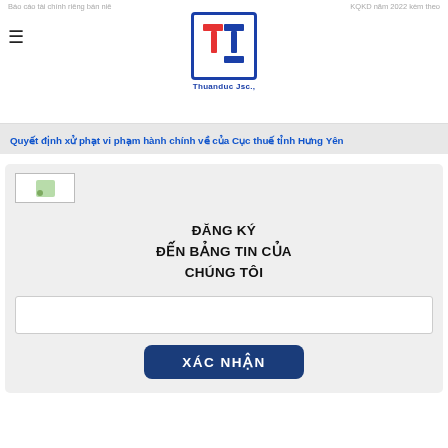Báo cáo tài chính riêng bán niê | KQKD năm 2022 kèm theo
[Figure (logo): Thuanduc Jsc. logo — blue-bordered square with stylized T letters in red and blue, tagline 'Thuanduc Jsc.,']
Quyết định xử phạt vi phạm hành chính về của Cục thuế tỉnh Hưng Yên
[Figure (other): Broken image placeholder icon]
ĐĂNG KÝ
ĐẾN BẢNG TIN CỦA
CHÚNG TÔI
XÁC NHẬN